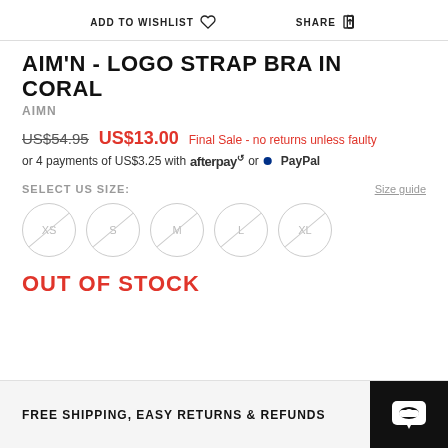ADD TO WISHLIST  SHARE
AIM'N - LOGO STRAP BRA IN CORAL
AIMN
US$54.95  US$13.00  Final Sale - no returns unless faulty
or 4 payments of US$3.25 with afterpay or PayPal
SELECT US SIZE:
[Figure (other): Size selector circles: XS, S, M, L, XL — all crossed out (out of stock)]
OUT OF STOCK
FREE SHIPPING, EASY RETURNS & REFUNDS